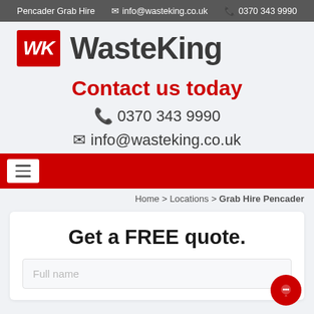Pencader Grab Hire  info@wasteking.co.uk  0370 343 9990
[Figure (logo): WasteKing logo: red box with white WK initials and brand name WasteKing in dark grey]
Contact us today
0370 343 9990
info@wasteking.co.uk
[Figure (other): Red navigation bar with white hamburger menu icon on left]
Home > Locations > Grab Hire Pencader
Get a FREE quote.
Full name